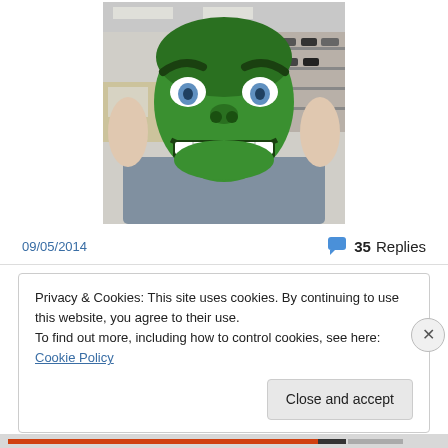[Figure (photo): Person wearing a green Hulk mask/costume face in a retail store setting]
09/05/2014
35 Replies
Privacy & Cookies: This site uses cookies. By continuing to use this website, you agree to their use.
To find out more, including how to control cookies, see here: Cookie Policy
Close and accept